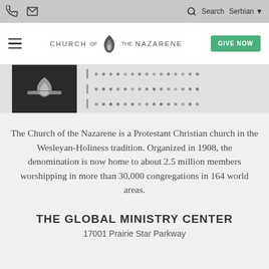Search   Serbian
[Figure (logo): Church of the Nazarene logo and navigation header with GIVE NOW button]
[Figure (photo): Church of the Nazarene dark banner logo with decorative dot pattern]
The Church of the Nazarene is a Protestant Christian church in the Wesleyan-Holiness tradition. Organized in 1908, the denomination is now home to about 2.5 million members worshipping in more than 30,000 congregations in 164 world areas.
THE GLOBAL MINISTRY CENTER
17001 Prairie Star Parkway